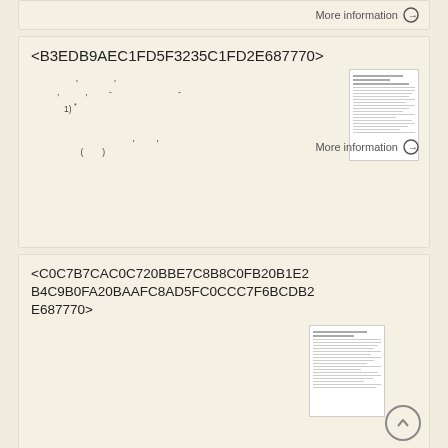More information →
<B3EDB9AEC1FD5F3235C1FD2E687770>
, ,
, , -  -
1) *

, ,
( )
[Figure (other): Thumbnail of a document page]
More information →
<C0C7B7CAC0C720BBE7C8B8C0FB20B1E2B4C9B0FA20BAAFC8AD5FC0CCC7F6BCDB2E687770>
[Figure (other): Thumbnail of a document page with up-arrow circle button]